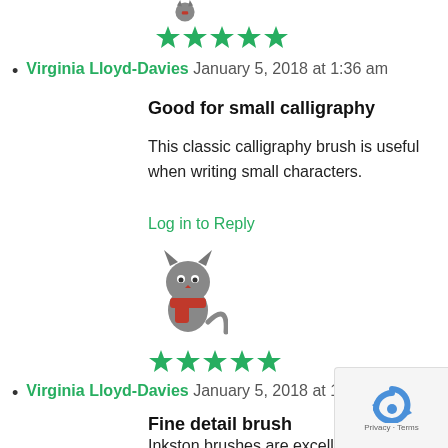[Figure (illustration): Partial cat avatar image (gray cat with red scarf) cropped at top]
[Figure (other): Five green stars rating]
Virginia Lloyd-Davies January 5, 2018 at 1:36 am
Good for small calligraphy
This classic calligraphy brush is useful when writing small characters.
Log in to Reply
[Figure (illustration): Gray cat avatar with red scarf]
[Figure (other): Five green stars rating]
Virginia Lloyd-Davies January 5, 2018 at 1:26 am
Fine detail brush
Inkston brushes are excellent quality. This on comes to a fine point and works well for fine